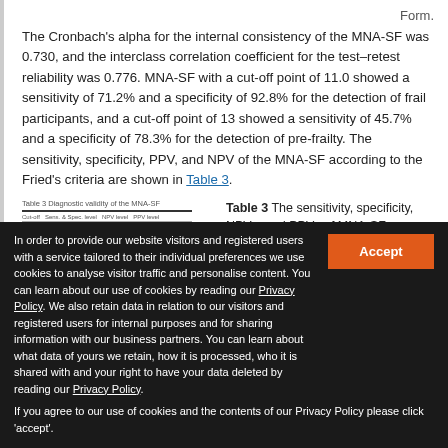Form.
The Cronbach's alpha for the internal consistency of the MNA-SF was 0.730, and the interclass correlation coefficient for the test–retest reliability was 0.776. MNA-SF with a cut-off point of 11.0 showed a sensitivity of 71.2% and a specificity of 92.8% for the detection of frail participants, and a cut-off point of 13 showed a sensitivity of 45.7% and a specificity of 78.3% for the detection of pre-frailty. The sensitivity, specificity, PPV, and NPV of the MNA-SF according to the Fried's criteria are shown in Table 3.
[Figure (table-as-image): Thumbnail/preview of Table 3 showing rows for cut-off values with sensitivity, specificity, NPV, PPV columns]
Table 3 The sensitivity, specificity, NPVs, and PPVs of MNA-SF
In order to provide our website visitors and registered users with a service tailored to their individual preferences we use cookies to analyse visitor traffic and personalise content. You can learn about our use of cookies by reading our Privacy Policy. We also retain data in relation to our visitors and registered users for internal purposes and for sharing information with our business partners. You can learn about what data of yours we retain, how it is processed, who it is shared with and your right to have your data deleted by reading our Privacy Policy.
If you agree to our use of cookies and the contents of our Privacy Policy please click 'accept'.